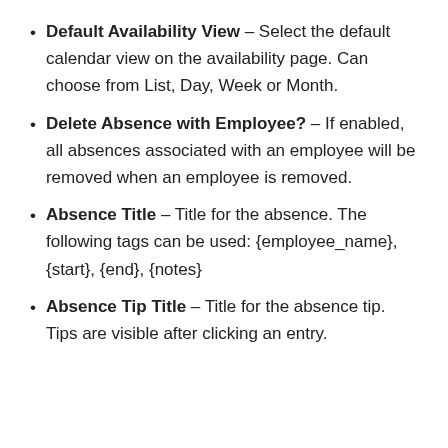Default Availability View – Select the default calendar view on the availability page. Can choose from List, Day, Week or Month.
Delete Absence with Employee? – If enabled, all absences associated with an employee will be removed when an employee is removed.
Absence Title – Title for the absence. The following tags can be used: {employee_name}, {start}, {end}, {notes}
Absence Tip Title – Title for the absence tip. Tips are visible after clicking an entry.